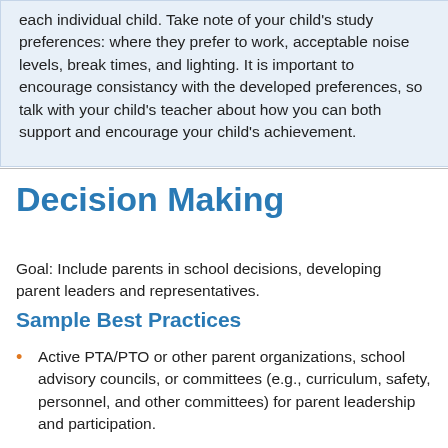each individual child. Take note of your child's study preferences: where they prefer to work, acceptable noise levels, break times, and lighting. It is important to encourage consistancy with the developed preferences, so talk with your child's teacher about how you can both support and encourage your child's achievement.
Decision Making
Goal: Include parents in school decisions, developing parent leaders and representatives.
Sample Best Practices
Active PTA/PTO or other parent organizations, school advisory councils, or committees (e.g., curriculum, safety, personnel, and other committees) for parent leadership and participation.